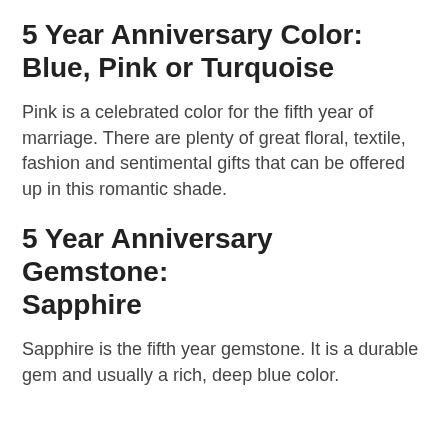5 Year Anniversary Color: Blue, Pink or Turquoise
Pink is a celebrated color for the fifth year of marriage. There are plenty of great floral, textile, fashion and sentimental gifts that can be offered up in this romantic shade.
5 Year Anniversary Gemstone: Sapphire
Sapphire is the fifth year gemstone. It is a durable gem and usually a rich, deep blue color.